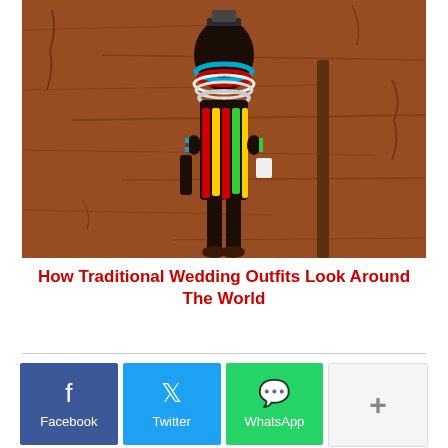[Figure (photo): A person dressed in traditional African tribal wedding attire, adorned with colorful beaded necklaces, bracelets, and decorative garments in red, yellow, blue, and green, standing in front of a brown clay/mud wall.]
How Traditional Wedding Outfits Look Around The World
[Figure (infographic): Social sharing buttons row: Facebook (blue), Twitter (cyan), WhatsApp (green), and a More (+) button in light grey.]